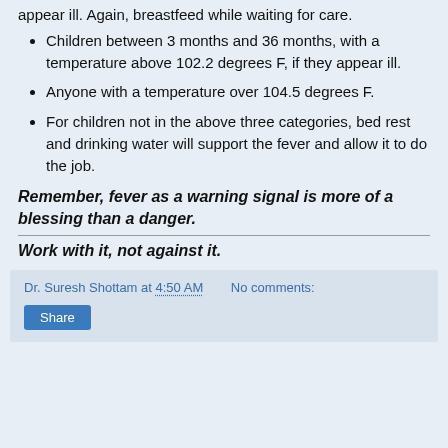appear ill. Again, breastfeed while waiting for care.
Children between 3 months and 36 months, with a temperature above 102.2 degrees F, if they appear ill.
Anyone with a temperature over 104.5 degrees F.
For children not in the above three categories, bed rest and drinking water will support the fever and allow it to do the job.
Remember, fever as a warning signal is more of a blessing than a danger.
Work with it, not against it.
Dr. Suresh Shottam at 4:50 AM   No comments:   Share